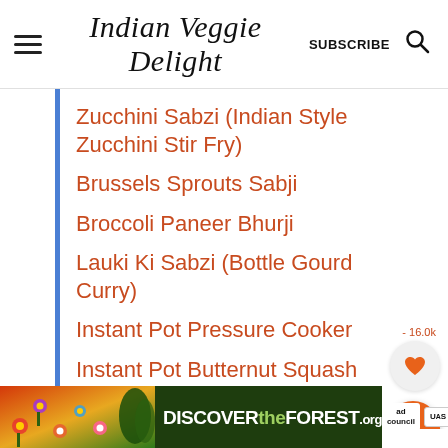Indian Veggie Delight | SUBSCRIBE
Zucchini Sabzi (Indian Style Zucchini Stir Fry)
Brussels Sprouts Sabji
Broccoli Paneer Bhurji
Lauki Ki Sabzi (Bottle Gourd Curry)
Instant Pot Pressure Cooker
Instant Pot Butternut Squash
Coconut Curry
[Figure (infographic): Discover the Forest advertisement banner with colorful flowers/nature imagery, text: DISCOVER the FOREST.org, ad council and USDA Forest Service badges]
Pa